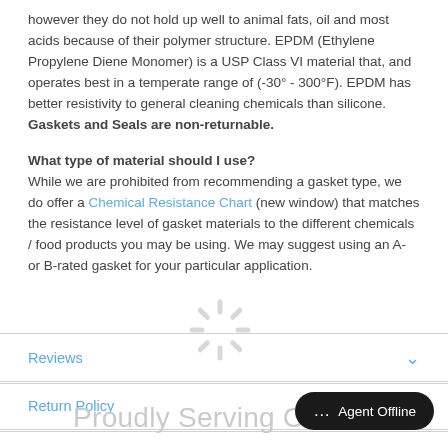however they do not hold up well to animal fats, oil and most acids because of their polymer structure. EPDM (Ethylene Propylene Diene Monomer) is a USP Class VI material that, and operates best in a temperate range of (-30° - 300°F). EPDM has better resistivity to general cleaning chemicals than silicone. Gaskets and Seals are non-returnable.
What type of material should I use?
While we are prohibited from recommending a gasket type, we do offer a Chemical Resistance Chart (new window) that matches the resistance level of gasket materials to the different chemicals / food products you may be using. We may suggest using an A- or B-rated gasket for your particular application.
Reviews
Return Policy
Proudly Serving Our Customers